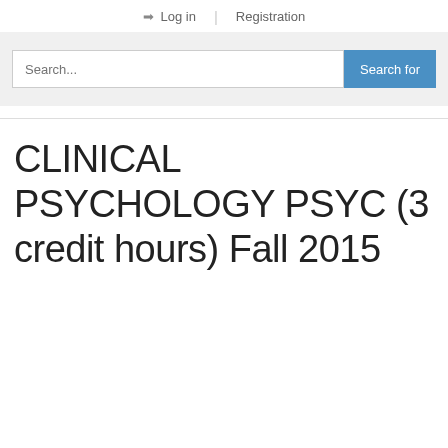Log in | Registration
[Figure (screenshot): Search bar with placeholder text 'Search...' and a blue 'Search for' button]
CLINICAL PSYCHOLOGY PSYC (3 credit hours) Fall 2015